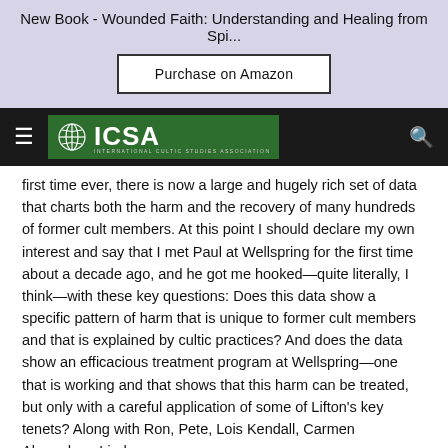New Book - Wounded Faith: Understanding and Healing from Spi...
Purchase on Amazon
[Figure (logo): ICSA International Cultic Studies Association logo with globe icon on dark green background, within a black navigation bar with hamburger menu and search icon]
first time ever, there is now a large and hugely rich set of data that charts both the harm and the recovery of many hundreds of former cult members. At this point I should declare my own interest and say that I met Paul at Wellspring for the first time about a decade ago, and he got me hooked—quite literally, I think—with these key questions: Does this data show a specific pattern of harm that is unique to former cult members and that is explained by cultic practices? And does the data show an efficacious treatment program at Wellspring—one that is working and that shows that this harm can be treated, but only with a careful application of some of Lifton's key tenets? Along with Ron, Pete, Lois Kendall, Carmen Almendros, Lindsay